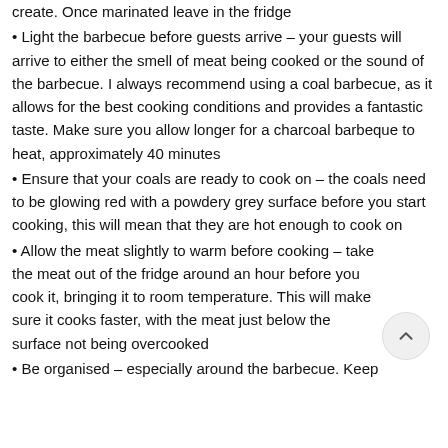create. Once marinated leave in the fridge
• Light the barbecue before guests arrive – your guests will arrive to either the smell of meat being cooked or the sound of the barbecue. I always recommend using a coal barbecue, as it allows for the best cooking conditions and provides a fantastic taste. Make sure you allow longer for a charcoal barbeque to heat, approximately 40 minutes
• Ensure that your coals are ready to cook on – the coals need to be glowing red with a powdery grey surface before you start cooking, this will mean that they are hot enough to cook on
• Allow the meat slightly to warm before cooking – take the meat out of the fridge around an hour before you cook it, bringing it to room temperature. This will make sure it cooks faster, with the meat just below the surface not being overcooked
• Be organised – especially around the barbecue. Keep